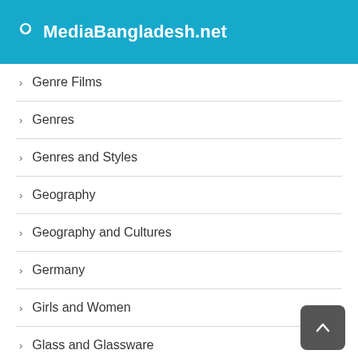MediaBangladesh.net
Genre Films
Genres
Genres and Styles
Geography
Geography and Cultures
Germany
Girls and Women
Glass and Glassware
Golf
Government and Business